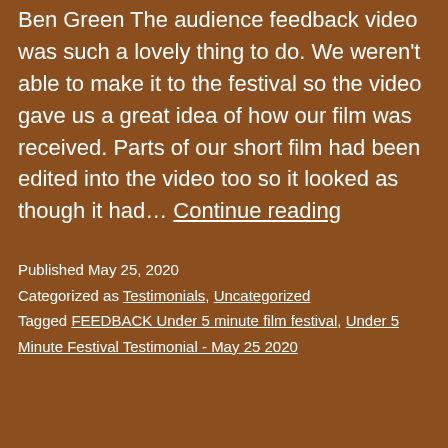Ben Green The audience feedback video was such a lovely thing to do. We weren't able to make it to the festival so the video gave us a great idea of how our film was received. Parts of our short film had been edited into the video too so it looked as though it had… Continue reading
Published May 25, 2020 Categorized as Testimonials, Uncategorized Tagged FEEDBACK Under 5 minute film festival, Under 5 Minute Festival Testimonial - May 25 2020